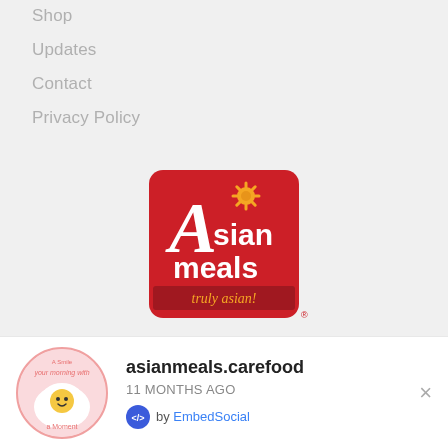Shop
Updates
Contact
Privacy Policy
[Figure (logo): Asian Meals logo — red rounded square with white script lettering 'Asian meals' and gold sunflower icon, tagline 'truly asian!' in red below the box]
[Figure (illustration): Script calligraphy text 'Fine Dining' in gold/champagne color]
[Figure (photo): Circular Instagram profile avatar for asianmeals.carefood — pink background with fried egg character and text]
asianmeal.carefood
11 MONTHS AGO
by EmbedSocial